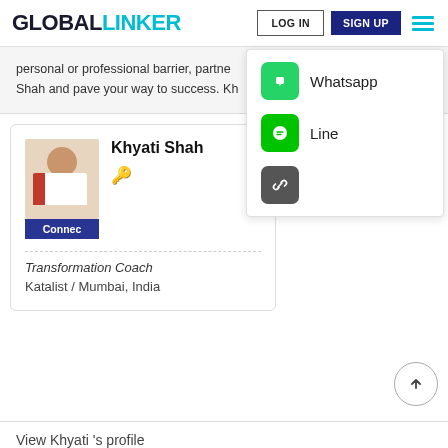GLOBALLINKER  LOG IN  SIGN UP
personal or professional barrier, partne... Shah and pave your way to success. Kh...
[Figure (screenshot): Share dropdown menu with Whatsapp, Line, and link options]
[Figure (photo): Profile card for Khyati Shah showing photo, Connect button, key icon, role as Transformation Coach at Katalist, Mumbai India]
View Khyati 's profile